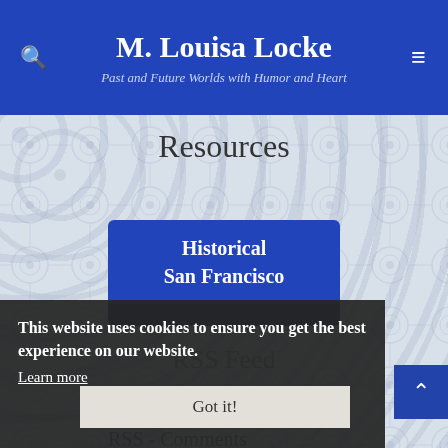M. Louisa Locke — Past and Future Worlds with Humor and Heart
Resources
Historical
San Francisco
RSS Feed
This website uses cookies to ensure you get the best experience on our website.
Learn more
Got it!
RSS - Posts
RSS - Comments